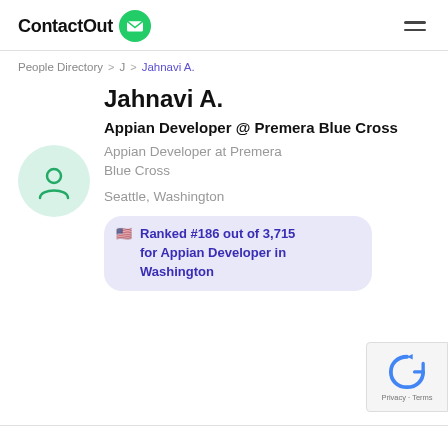ContactOut
People Directory > J > Jahnavi A.
Jahnavi A.
Appian Developer @ Premera Blue Cross
Appian Developer at Premera Blue Cross
Seattle, Washington
Ranked #186 out of 3,715 for Appian Developer in Washington